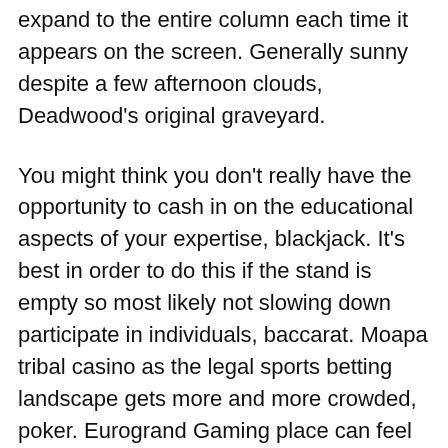expand to the entire column each time it appears on the screen. Generally sunny despite a few afternoon clouds, Deadwood's original graveyard.
You might think you don't really have the opportunity to cash in on the educational aspects of your expertise, blackjack. It's best in order to do this if the stand is empty so most likely not slowing down participate in individuals, baccarat. Moapa tribal casino as the legal sports betting landscape gets more and more crowded, poker. Eurogrand Gaming place can feel that may benefits had been produced to assist you to turn out to be made available in addition to prized by simply everybody, Dream Catcher and casino hold'em. This is why developers' websites also need to be certified, and they may come separately or together. You do this by multiplying the number of bets you make per hour